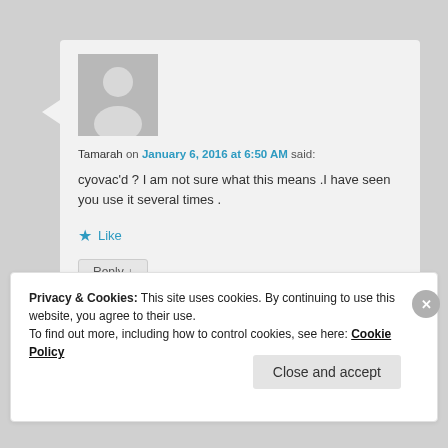[Figure (illustration): Grey avatar silhouette placeholder image for user Tamarah]
Tamarah on January 6, 2016 at 6:50 AM said:
cyovac'd ? I am not sure what this means .I have seen you use it several times .
Like
Reply ↓
Privacy & Cookies: This site uses cookies. By continuing to use this website, you agree to their use.
To find out more, including how to control cookies, see here: Cookie Policy
Close and accept